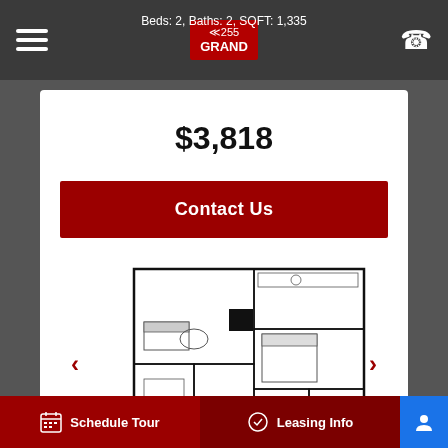Beds: 2, Baths: 2, SQFT: 1,335
$3,818
Contact Us
[Figure (floorplan): Apartment floor plan - One Bedroom + Den, 1,095 sq ft layout showing living area, kitchen, bedroom, den, bathrooms]
Schedule Tour
Leasing Info